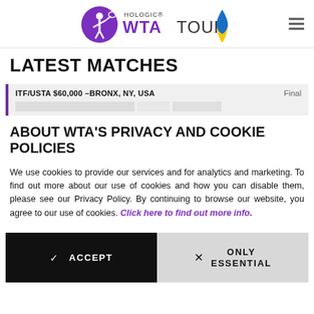[Figure (logo): Hologic WTA Tour logo with purple tennis player icon and text, plus blue and yellow ribbon]
LATEST MATCHES
ITF/USTA $60,000 -BRONX, NY, USA    Final
ABOUT WTA'S PRIVACY AND COOKIE POLICIES
We use cookies to provide our services and for analytics and marketing. To find out more about our use of cookies and how you can disable them, please see our Privacy Policy. By continuing to browse our website, you agree to our use of cookies. Click here to find out more info.
ACCEPT
ONLY ESSENTIAL